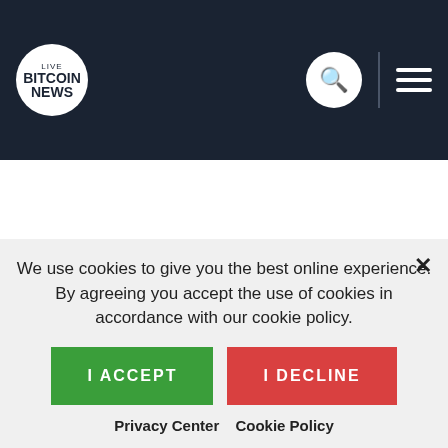LIVE BITCOIN NEWS
product/tech growth, and the rest 7% is allocated to the partners.
G token will be listed on LBank Exchange at 21:00 (UTC+8) on June 24, 2022, investors who are interested in GRN Grid investment can easily buy and sell G token on LBank Exchange by then. The listing of G on LBank Exchange will undoubtedly
We use cookies to give you the best online experience. By agreeing you accept the use of cookies in accordance with our cookie policy.
I ACCEPT
I DECLINE
Privacy Center   Cookie Policy